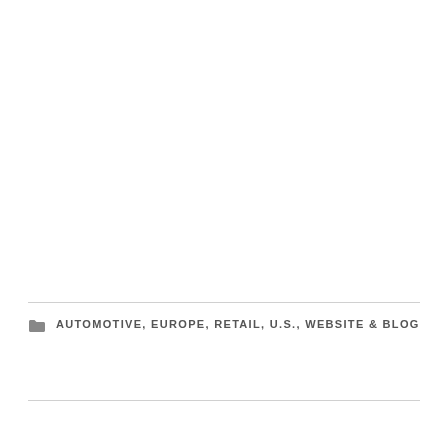AUTOMOTIVE, EUROPE, RETAIL, U.S., WEBSITE & BLOG